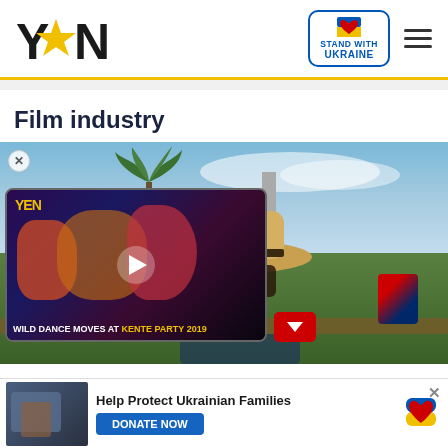[Figure (logo): YEN logo with star in place of O]
[Figure (logo): Stand With Ukraine badge with heart icon]
Film industry
[Figure (photo): Main editorial image showing person in wide-brim hat outdoors with palm trees and sky, with embedded YEN video overlay showing Wild Dance Moves at Kente Party 2019]
[Figure (photo): Bottom banner with Ukrainian family image and Help Protect Ukrainian Families donate prompt]